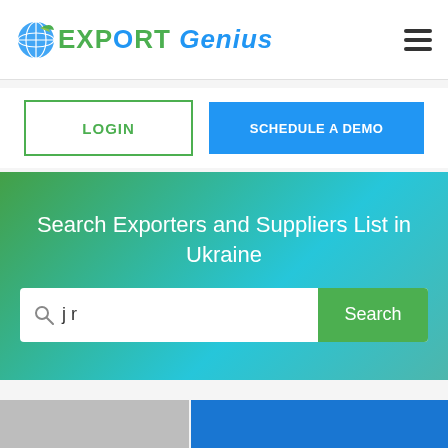[Figure (logo): Export Genius logo with globe icon, green and blue text reading EXPORT GENIUS]
[Figure (other): Hamburger menu icon (three horizontal lines)]
LOGIN
SCHEDULE A DEMO
Search Exporters and Suppliers List in Ukraine
jr
Search